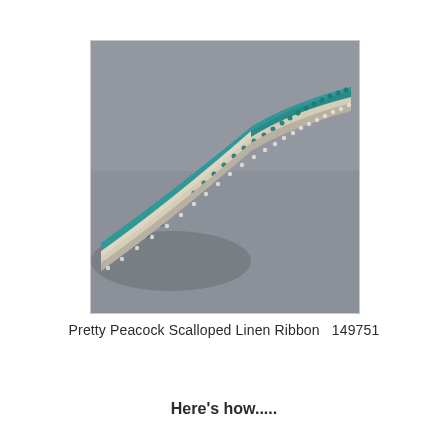[Figure (photo): A scalloped linen ribbon with teal/peacock blue edges laid diagonally against a grey background. The ribbon shows both sides — one edge has small white scalloped lace trim, the other has teal beaded/scalloped edge trim, with a natural linen center.]
Pretty Peacock Scalloped Linen Ribbon  149751
Here's how.....